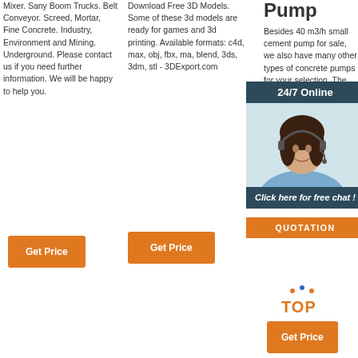Mixer. Sany Boom Trucks. Belt Conveyor. Screed, Mortar, Fine Concrete. Industry, Environment and Mining. Underground. Please contact us if you need further information. We will be happy to help you.
Download Free 3D Models. Some of these 3d models are ready for games and 3d printing. Available formats: c4d, max, obj, fbx, ma, blend, 3ds, 3dm, stl - 3DExport.com
Pump
Besides 40 m3/h small cement pump for sale, we also have many other types of concrete pumps for your selection. The output, configuration, and performance can be applied in different construction sites, such as buildings in the countryside and city, bridges and so on.
[Figure (photo): Customer service representative with headset, overlay chat widget with '24/7 Online', 'Click here for free chat!', and QUOTATION button]
Get Price (column 1 button)
Get Price (column 2 button)
Get Price (column 3 button)